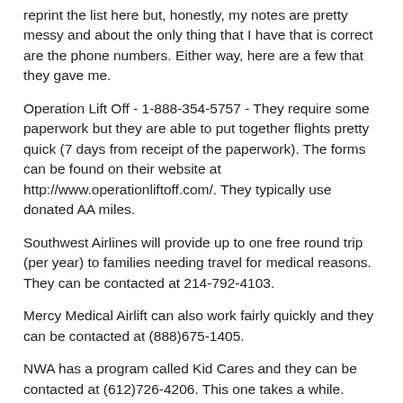reprint the list here but, honestly, my notes are pretty messy and about the only thing that I have that is correct are the phone numbers. Either way, here are a few that they gave me.
Operation Lift Off - 1-888-354-5757 - They require some paperwork but they are able to put together flights pretty quick (7 days from receipt of the paperwork). The forms can be found on their website at http://www.operationliftoff.com/. They typically use donated AA miles.
Southwest Airlines will provide up to one free round trip (per year) to families needing travel for medical reasons. They can be contacted at 214-792-4103.
Mercy Medical Airlift can also work fairly quickly and they can be contacted at (888)675-1405.
NWA has a program called Kid Cares and they can be contacted at (612)726-4206. This one takes a while.
American Airlines has a program and they can be contacted